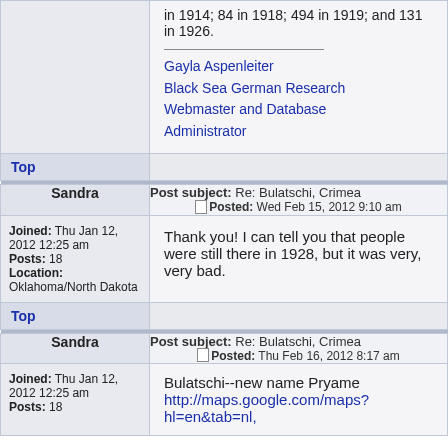in 1914; 84 in 1918; 494 in 1919; and 131 in 1926.
Gayla Aspenleiter
Black Sea German Research
Webmaster and Database Administrator
Top
Post subject: Re: Bulatschi, Crimea
Posted: Wed Feb 15, 2012 9:10 am
Sandra
Joined: Thu Jan 12, 2012 12:25 am
Posts: 18
Location: Oklahoma/North Dakota
Thank you! I can tell you that people were still there in 1928, but it was very, very bad.
Top
Post subject: Re: Bulatschi, Crimea
Posted: Thu Feb 16, 2012 8:17 am
Sandra
Joined: Thu Jan 12, 2012 12:25 am
Posts: 18
Bulatschi--new name Pryame
http://maps.google.com/maps?hl=en&tab=nl,